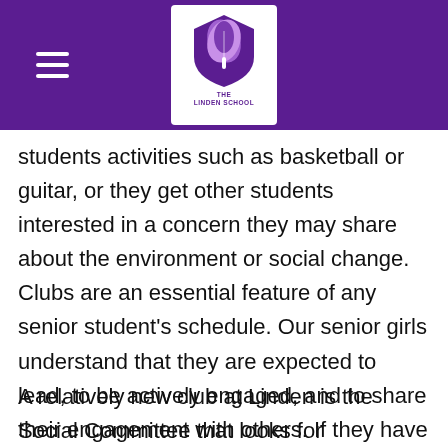Linden School
students activities such as basketball or guitar, or they get other students interested in a concern they may share about the environment or social change. Clubs are an essential feature of any senior student's schedule. Our senior girls understand that they are expected to lead, to be actively engaged, and to share their engagement with others. If they have an idea, teachers provide the support to help them run with it! Every year, students in the Classics club participate in the Ontario Classics Conference.
A relatively new club at Linden is the Social Committee that looks for educational and social